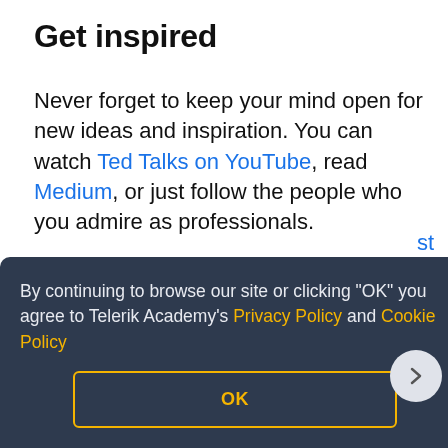Get inspired
Never forget to keep your mind open for new ideas and inspiration. You can watch Ted Talks on YouTube, read Medium, or just follow the people who you admire as professionals.
Read success stories of people who overcome their fears and shortcomings to achieve their goals. Check the success stories of some
[Figure (screenshot): Cookie consent banner overlay with dark blue-grey background. Text reads: 'By continuing to browse our site or clicking "OK" you agree to Telerik Academy's Privacy Policy and Cookie Policy'. Yellow OK button at bottom center.]
do it, but how you can squeeze a couple of